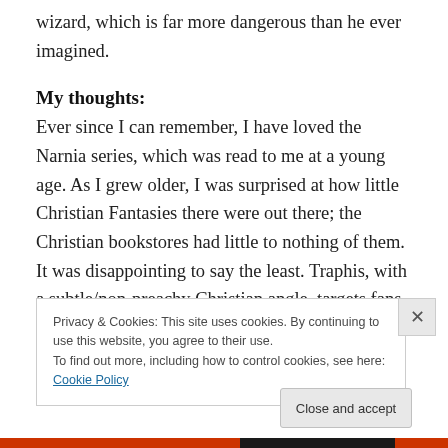wizard, which is far more dangerous than he ever imagined.
My thoughts:
Ever since I can remember, I have loved the Narnia series, which was read to me at a young age. As I grew older, I was surprised at how little Christian Fantasies there were out there; the Christian bookstores had little to nothing of them. It was disappointing to say the least. Traphis, with a subtle/non-preachy Christian angle, targets fans of series like Narnia as well as secular ones like Harry Potter and
Privacy & Cookies: This site uses cookies. By continuing to use this website, you agree to their use.
To find out more, including how to control cookies, see here: Cookie Policy
Close and accept